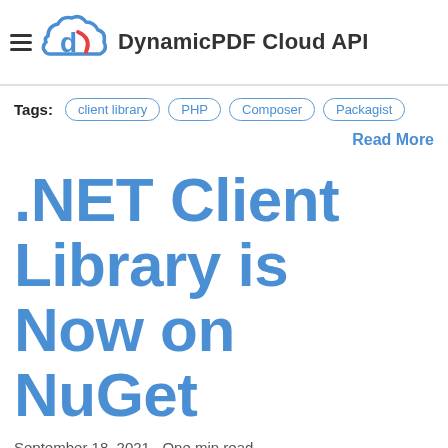DynamicPDF Cloud API
Tags: client library  PHP  Composer  Packagist
Read More
.NET Client Library is Now on NuGet
September 18, 2021 · One min read